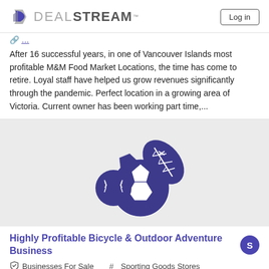DEALSTREAM | Log in
After 16 successful years, in one of Vancouver Islands most profitable M&M Food Market Locations, the time has come to retire. Loyal staff have helped us grow revenues significantly through the pandemic. Perfect location in a growing area of Victoria. Current owner has been working part time,...
[Figure (illustration): Sports balls illustration in dark purple/navy: a football, soccer ball, and baseball clustered together, used as a placeholder image for a sporting goods business listing.]
Highly Profitable Bicycle & Outdoor Adventure Business
Businesses For Sale  #  Sporting Goods Stores
British Columbia  $  Available On Request
Management Will Stay